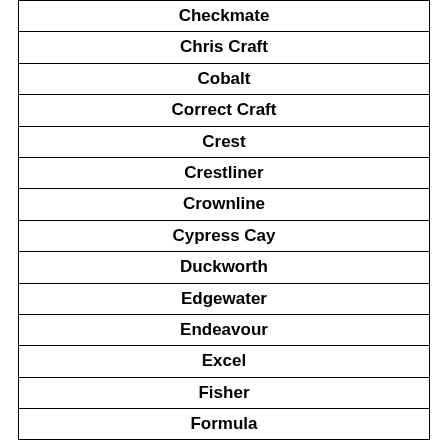| Checkmate |
| Chris Craft |
| Cobalt |
| Correct Craft |
| Crest |
| Crestliner |
| Crownline |
| Cypress Cay |
| Duckworth |
| Edgewater |
| Endeavour |
| Excel |
| Fisher |
| Formula |